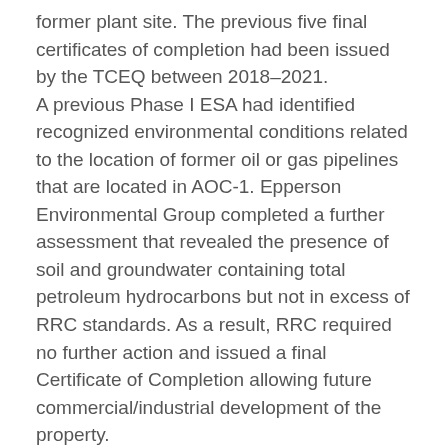former plant site. The previous five final certificates of completion had been issued by the TCEQ between 2018–2021. A previous Phase I ESA had identified recognized environmental conditions related to the location of former oil or gas pipelines that are located in AOC-1. Epperson Environmental Group completed a further assessment that revealed the presence of soil and groundwater containing total petroleum hydrocarbons but not in excess of RRC standards. As a result, RRC required no further action and issued a final Certificate of Completion allowing future commercial/industrial development of the property. The future plans for the property include the construction of a new large railyard that will cover the entire Former Aransas Pass Carbon Plant property. For more information, please contact Chuck